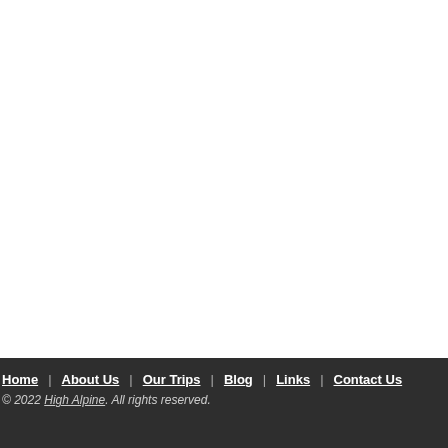Home | About Us | Our Trips | Blog | Links | Contact Us
© 2022 High Alpine. All rights reserved.